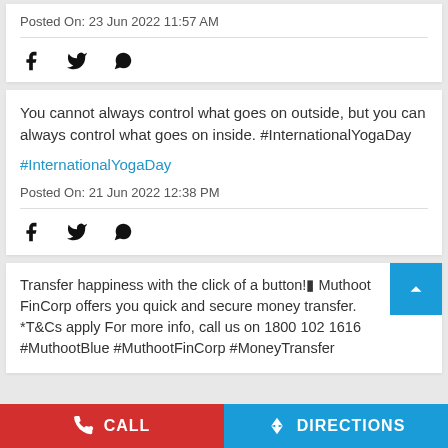Posted On: 23 Jun 2022 11:57 AM
[Figure (other): Social share icons: Facebook, Twitter, WhatsApp]
You cannot always control what goes on outside, but you can always control what goes on inside. #InternationalYogaDay
#InternationalYogaDay
Posted On: 21 Jun 2022 12:38 PM
[Figure (other): Social share icons: Facebook, Twitter, WhatsApp]
Transfer happiness with the click of a button!🔷 Muthoot FinCorp offers you quick and secure money transfer. *T&Cs apply For more info, call us on 1800 102 1616 #MuthootBlue #MuthootFinCorp #MoneyTransfer
CALL   DIRECTIONS